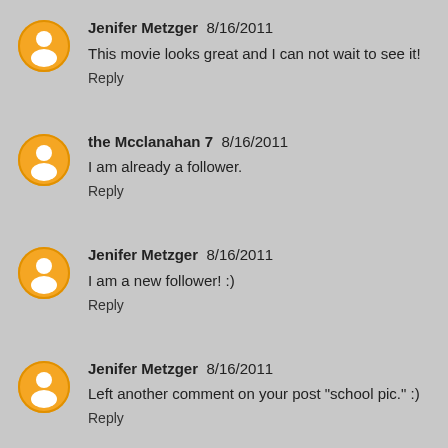Jenifer Metzger 8/16/2011
This movie looks great and I can not wait to see it!
Reply
the Mcclanahan 7 8/16/2011
I am already a follower.
Reply
Jenifer Metzger 8/16/2011
I am a new follower! :)
Reply
Jenifer Metzger 8/16/2011
Left another comment on your post "school pic." :)
Reply